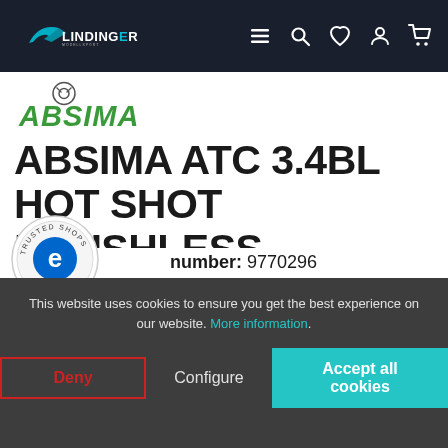Lindinger RC model shop navigation bar with logo and icons (menu, search, wishlist, account, cart)
[Figure (logo): Absima brand logo with circular icon above and ABSIMA text in green italic font]
ABSIMA ATC 3.4BL HOT SHOT BRUSHLESS TOURING CAR 4WD 1/10 RTR
Article number: 9770296
[Figure (logo): Trusted Shops circular badge with 'e' logo]
This website uses cookies to ensure you get the best experience on our website. More information.
Deny  Configure  Accept all cookies